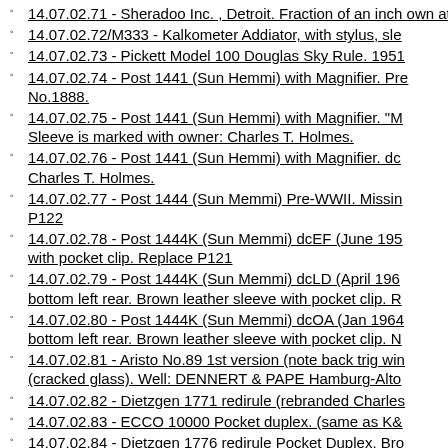14.07.02.71 - Sheradoo Inc. , Detroit. Fraction of an inch own at http://www.evilmadscientist.com/media/inchadder
14.07.02.72/M333 - Kalkometer Addiator, with stylus, sle
14.07.02.73 - Pickett Model 100 Douglas Sky Rule. 1951
14.07.02.74 - Post 1441 (Sun Hemmi) with Magnifier. Pre No.1888.
14.07.02.75 - Post 1441 (Sun Hemmi) with Magnifier. "M Sleeve is marked with owner: Charles T. Holmes.
14.07.02.76 - Post 1441 (Sun Hemmi) with Magnifier. dc Charles T. Holmes.
14.07.02.77 - Post 1444 (Sun Memmi) Pre-WWII. Missin P122
14.07.02.78 - Post 1444K (Sun Memmi) dcEF (June 195 with pocket clip. Replace P121
14.07.02.79 - Post 1444K (Sun Memmi) dcLD (April 196 bottom left rear. Brown leather sleeve with pocket clip. R
14.07.02.80 - Post 1444K (Sun Memmi) dcOA (Jan 1964 bottom left rear. Brown leather sleeve with pocket clip. N
14.07.02.81 - Aristo No.89 1st version (note back trig win (cracked glass). Well: DENNERT & PAPE Hamburg-Alto
14.07.02.82 - Dietzgen 1771 redirule (rebranded Charles
14.07.02.83 - ECCO 10000 Pocket duplex. (same as K&
14.07.02.84 - Dietzgen 1776 redirule Pocket Duplex. Bro gallery.
14.07.02.85/M - K&E 4150-1 K&E 4150-1 sn2930. In gre
14.07.02.86 - Bruning 2401 Mannheim, latest cursor. Bla
14.07.02.87 - Bruning 2401 Mannheim. (1945) Back Pro embossed Name: Alfred E. Trosch. Excess For Sale